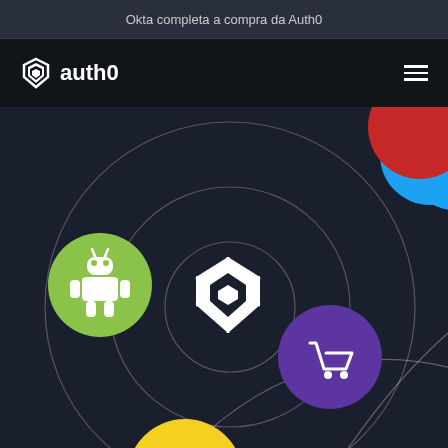Okta completa a compra da Auth0
[Figure (logo): Auth0 logo with shield/star icon in white on black navigation bar, with hamburger menu icon on right]
[Figure (infographic): Auth0 platform ecosystem diagram on dark background showing concentric orbital circles with technology icons: Android (green circle, robot icon), Twitter (cyan circle, bird icon), a red circle (partially visible top right), React (dark grey circle, atom icon), shopping cart (purple circle), Windows (blue circle, windows logo), JavaScript JS (yellow circle), and Auth0 shield/star logo in the center]